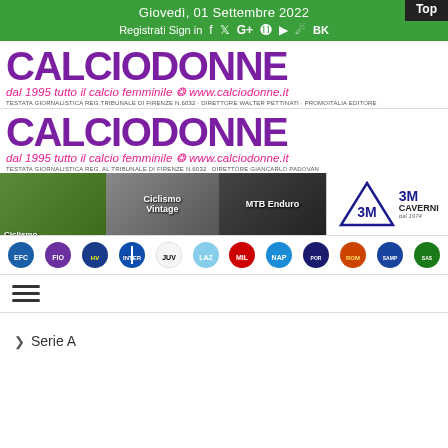Giovedì, 01 Settembre 2022
Registrati Sign in
[Figure (logo): CalcioDonne logo - large purple bold text CALCIODONNE, pink italic subtitle 'dal 1995 tutto il calcio femminile www.calciodonne.it', small legal text 'TESTATA GIORNALISTICA REG.TRIBUNALE DI FIRENZE N.6032 - DIRETTORE WALTER PETTINATI - PROMOITALIA EDITORE']
[Figure (logo): CalcioDonne logo variant 2 - large purple bold text CALCIODONNE, pink italic subtitle 'dal 1995 tutto il calcio femminile www.calciodonne.it', small legal text 'TESTATA GIORNALISTICA REG. AL TRIBUNALE DI FIRENZE N.6032 - DIRETTORE GIANCARLO PADOVAN']
[Figure (banner): Banner ad strip showing Ciclismo, Ciclismo Vintage, MTB Enduro labels with sports imagery and 3M/Caverni logos on right]
[Figure (illustration): Row of Italian football club crests/logos including Empoli, Fiorentina, Inter Milan, Juventus, Lazio, AC Milan, Napoli, Pordenone, Roma, Sampdoria, Sassuolo]
[Figure (infographic): Hamburger menu icon (three horizontal lines)]
> Serie A